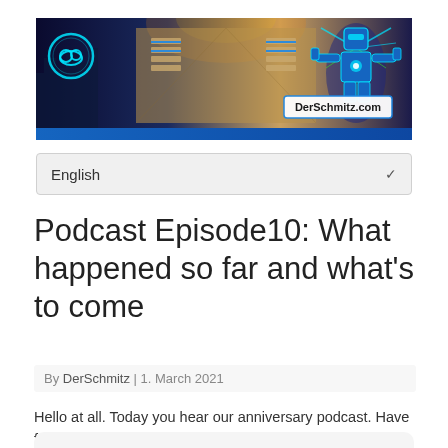[Figure (illustration): Banner image for DerSchmitz.com website showing a futuristic technology collage with a city skyline, cloud icon, server racks/data center corridor, and a glowing blue robot/superhero character. A label reading 'DerSchmitz.com' is visible in the lower right portion. A blue stripe runs along the bottom of the banner.]
English
Podcast Episode10: What happened so far and what's to come
By DerSchmitz | 1. March 2021
Hello at all. Today you hear our anniversary podcast. Have fun listening to or reading transcripts.